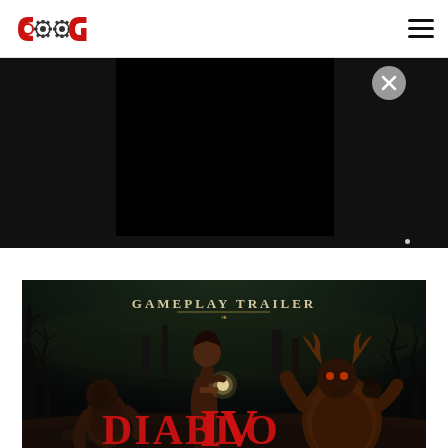COG (Cultured Vultures / Gear Gaming) logo and navigation
[Figure (screenshot): Video player overlay on dark background with a black video frame centered and a gray close (X) button in upper right]
[Figure (screenshot): Diablo IV Gameplay Trailer promotional image showing dark fantasy characters with 'GAMEPLAY TRAILER' text and 'DIABLO IV' title logo at bottom]